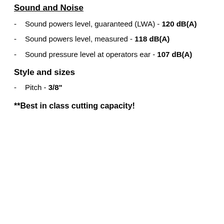Sound and Noise
Sound powers level, guaranteed (LWA) - 120 dB(A)
Sound powers level, measured - 118 dB(A)
Sound pressure level at operators ear - 107 dB(A)
Style and sizes
Pitch - 3/8"
**Best in class cutting capacity!